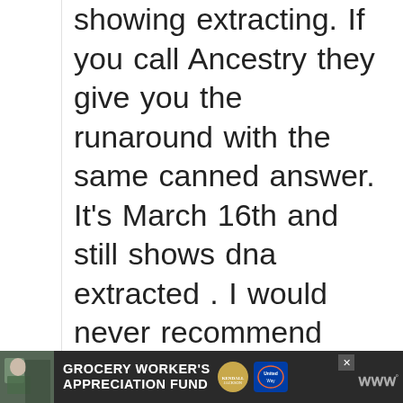waiting with status on line showing extracting. If you call Ancestry they give you the runaround with the same canned answer. It's March 16th and still shows dna extracted . I would never recommend Ancestry to anyone. Their service and customer support need improvement. We've already paid for a 6 month subscription for Ancestry by the time I get mine back I'll be
[Figure (other): Advertisement banner for Grocery Worker's Appreciation Fund featuring Kendall-Jackson and United Way logos, with a close button, on a dark background. Includes a small photo of a grocery worker on the left side.]